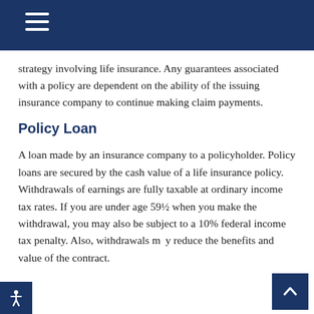Navigation menu header with hamburger icon
strategy involving life insurance. Any guarantees associated with a policy are dependent on the ability of the issuing insurance company to continue making claim payments.
Policy Loan
A loan made by an insurance company to a policyholder. Policy loans are secured by the cash value of a life insurance policy. Withdrawals of earnings are fully taxable at ordinary income tax rates. If you are under age 59½ when you make the withdrawal, you may also be subject to a 10% federal income tax penalty. Also, withdrawals may reduce the benefits and value of the contract.